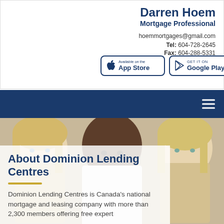Darren Hoem
Mortgage Professional
hoemmortgages@gmail.com
Tel: 604-728-2645
Fax: 604-288-5331
[Figure (screenshot): App Store and Google Play download buttons]
[Figure (photo): Navigation bar with hamburger menu icon on dark blue background]
[Figure (photo): Three people (two blonde women on sides, one Black man in center) smiling, upper body portrait style]
About Dominion Lending Centres
Dominion Lending Centres is Canada's national mortgage and leasing company with more than 2,300 members offering free expert